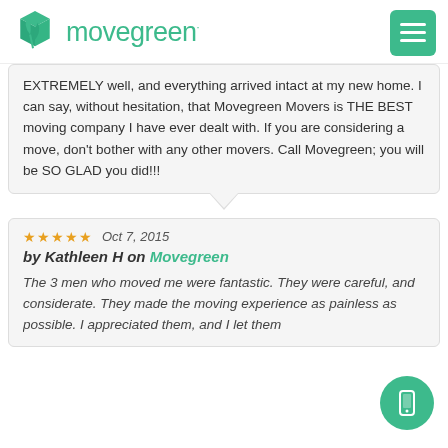[Figure (logo): Movegreen logo with green box icon and green text reading 'movegreen·']
EXTREMELY well, and everything arrived intact at my new home. I can say, without hesitation, that Movegreen Movers is THE BEST moving company I have ever dealt with. If you are considering a move, don't bother with any other movers. Call Movegreen; you will be SO GLAD you did!!!
Oct 7, 2015
by Kathleen H on Movegreen
The 3 men who moved me were fantastic. They were careful, and considerate. They made the moving experience as painless as possible. I appreciated them, and I let them